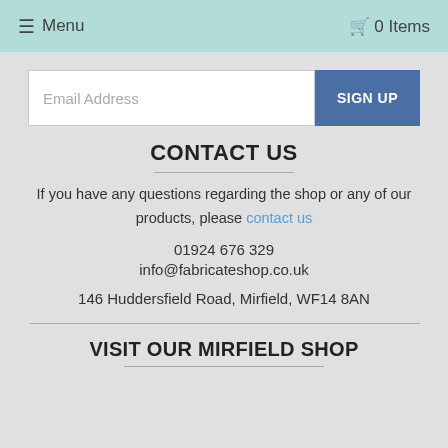≡ Menu   🛒 0 Items
Email Address
SIGN UP
CONTACT US
If you have any questions regarding the shop or any of our products, please contact us
01924 676 329
info@fabricateshop.co.uk
146 Huddersfield Road, Mirfield, WF14 8AN
VISIT OUR MIRFIELD SHOP